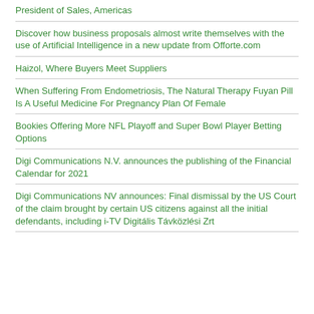President of Sales, Americas
Discover how business proposals almost write themselves with the use of Artificial Intelligence in a new update from Offorte.com
Haizol, Where Buyers Meet Suppliers
When Suffering From Endometriosis, The Natural Therapy Fuyan Pill Is A Useful Medicine For Pregnancy Plan Of Female
Bookies Offering More NFL Playoff and Super Bowl Player Betting Options
Digi Communications N.V. announces the publishing of the Financial Calendar for 2021
Digi Communications NV announces: Final dismissal by the US Court of the claim brought by certain US citizens against all the initial defendants, including i-TV Digitális Távközlési Zrt